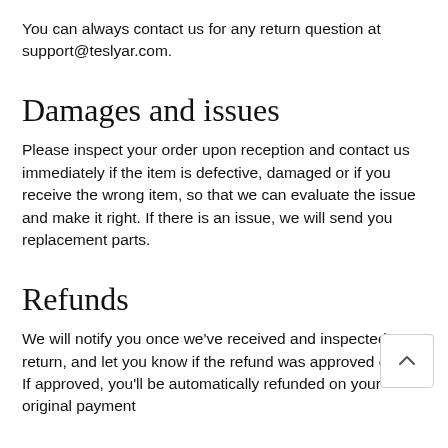You can always contact us for any return question at support@teslyar.com.
Damages and issues
Please inspect your order upon reception and contact us immediately if the item is defective, damaged or if you receive the wrong item, so that we can evaluate the issue and make it right. If there is an issue, we will send you replacement parts.
Refunds
We will notify you once we’ve received and inspected your return, and let you know if the refund was approved or not. If approved, you’ll be automatically refunded on your original payment